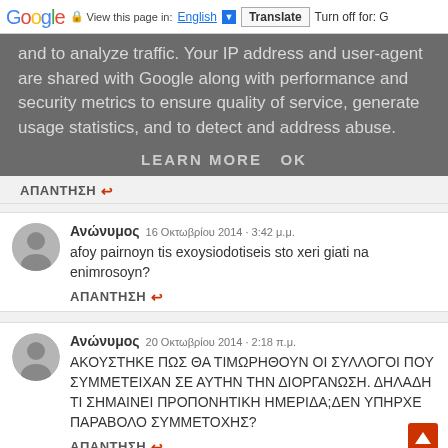Google  View this page in: English ▼  Translate  Turn off for: G
and to analyze traffic. Your IP address and user-agent are shared with Google along with performance and security metrics to ensure quality of service, generate usage statistics, and to detect and address abuse.
LEARN MORE    OK
ΑΠΑΝΤΗΣΗ ↩
Ανώνυμος  16 Οκτωβρίου 2014 · 3:42 μ.μ.
afoy pairnoyn tis exoysiodotiseis sto xeri giati na enimrosoyn?
ΑΠΑΝΤΗΣΗ ↩
Ανώνυμος  20 Οκτωβρίου 2014 · 2:18 π.μ.
ΑΚΟΥΣΤΗΚΕ ΠΩΣ ΘΑ ΤΙΜΩΡΗΘΟΥΝ ΟΙ ΣΥΛΛΟΓΟΙ ΠΟΥ ΣΥΜΜΕΤΕΙΧΑΝ ΣΕ ΑΥΤΗΝ ΤΗΝ ΔΙΟΡΓΑΝΩΣΗ. ΔΗΛΑΔΗ ΤΙ ΣΗΜΑΙΝΕΙ ΠΡΟΠΟΝΗΤΙΚΗ ΗΜΕΡΙΔΑ;ΔΕΝ ΥΠΗΡΧΕ ΠΑΡΑΒΟΛΟ ΣΥΜΜΕΤΟΧΗΣ?
ΑΠΑΝΤΗΣΗ ↩